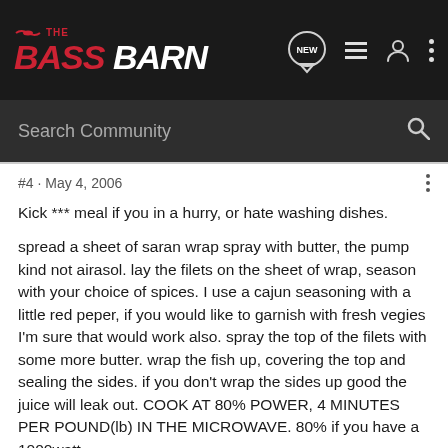[Figure (logo): The Bass Barn forum logo - red text on dark background]
Search Community
#4 · May 4, 2006
Kick *** meal if you in a hurry, or hate washing dishes.

spread a sheet of saran wrap spray with butter, the pump kind not airasol. lay the filets on the sheet of wrap, season with your choice of spices. I use a cajun seasoning with a little red peper, if you would like to garnish with fresh vegies I'm sure that would work also. spray the top of the filets with some more butter. wrap the fish up, covering the top and sealing the sides. if you don't wrap the sides up good the juice will leak out. COOK AT 80% POWER, 4 MINUTES PER POUND(lb) IN THE MICROWAVE. 80% if you have a 1000watt.
remove from the wrap and serve over rice or any other side.